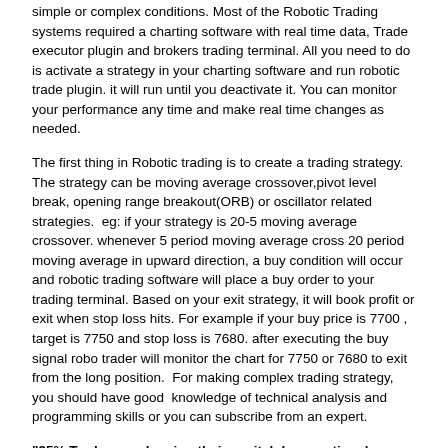simple or complex conditions. Most of the Robotic Trading systems required a charting software with real time data, Trade executor plugin and brokers trading terminal. All you need to do is activate a strategy in your charting software and run robotic trade plugin. it will run until you deactivate it. You can monitor your performance any time and make real time changes as needed.
The first thing in Robotic trading is to create a trading strategy. The strategy can be moving average crossover,pivot level break, opening range breakout(ORB) or oscillator related strategies.  eg: if your strategy is 20-5 moving average crossover. whenever 5 period moving average cross 20 period moving average in upward direction, a buy condition will occur and robotic trading software will place a buy order to your trading terminal. Based on your exit strategy, it will book profit or exit when stop loss hits. For example if your buy price is 7700 , target is 7750 and stop loss is 7680. after executing the buy signal robo trader will monitor the chart for 7750 or 7680 to exit from the long position.  For making complex trading strategy, you should have good  knowledge of technical analysis and programming skills or you can subscribe from an expert.
"95% Traders are loosing their capital due emotional Trading. Use Robo Trader to avoid it."
REAL ROBO TRADER
The Ultimate auto trading software.
Features: